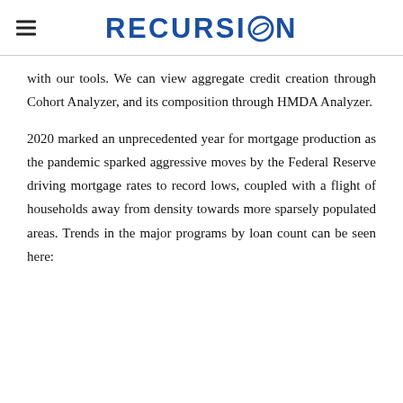RECURSION
with our tools. We can view aggregate credit creation through Cohort Analyzer, and its composition through HMDA Analyzer.
2020 marked an unprecedented year for mortgage production as the pandemic sparked aggressive moves by the Federal Reserve driving mortgage rates to record lows, coupled with a flight of households away from density towards more sparsely populated areas. Trends in the major programs by loan count can be seen here: